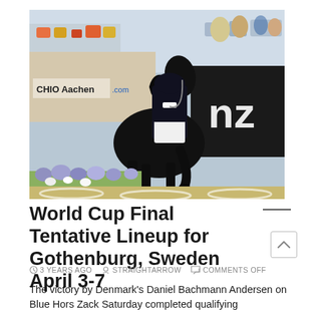[Figure (photo): A rider in black equestrian attire on a black horse performing dressage at CHIO Aachen, with spectators in the background and a 'nz' branded banner visible. Flowers line the arena. Sunny outdoor competition setting.]
World Cup Final Tentative Lineup for Gothenburg, Sweden April 3-7
3 YEARS AGO   STRAIGHTARROW   COMMENTS OFF
The victory by Denmark's Daniel Bachmann Andersen on Blue Hors Zack Saturday completed qualifying competitions around the world to earn one of the 18 starting positions at the